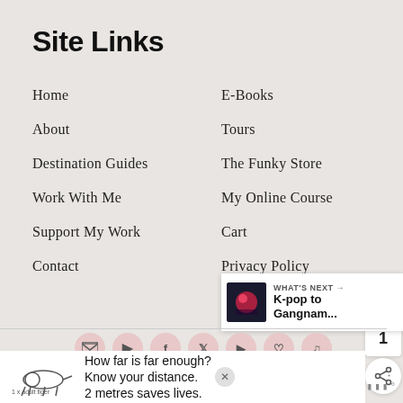Site Links
Home
E-Books
About
Tours
Destination Guides
The Funky Store
Work With Me
My Online Course
Support My Work
Cart
Contact
Privacy Policy
WHAT'S NEXT → K-pop to Gangnam...
How far is far enough? Know your distance. 2 metres saves lives.